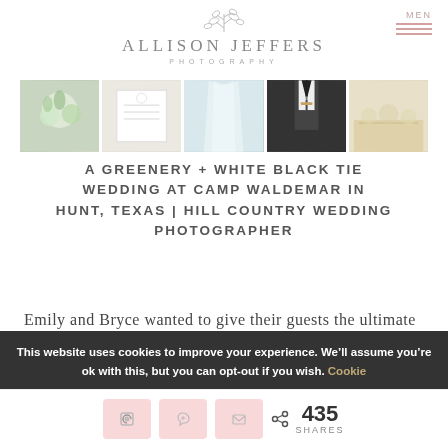[Figure (logo): Allison Jeffers Photography logo with botanical leaf illustration above the name]
[Figure (photo): A horizontal strip of five wedding photography images: floral bouquet, invitation card, draped dress fabric, groom's tuxedo, and reception table setting]
A GREENERY + WHITE BLACK TIE WEDDING AT CAMP WALDEMAR IN HUNT, TEXAS | HILL COUNTRY WEDDING PHOTOGRAPHER
Emily and Bryce wanted to give their guests the ultimate “fun” experience, so when looking for their wedding venue,
This website uses cookies to improve your experience. We’ll assume you’re ok with this, but you can opt-out if you wish. Cookie
435 SHARES